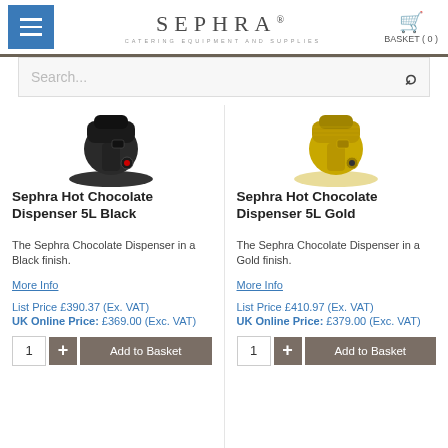[Figure (logo): Sephra Catering Equipment and Supplies logo with hamburger menu button and basket icon]
[Figure (screenshot): Search bar with placeholder text 'Search...' and magnifying glass icon]
[Figure (photo): Sephra Hot Chocolate Dispenser 5L Black product image]
Sephra Hot Chocolate Dispenser 5L Black
The Sephra Chocolate Dispenser in a Black finish.
More Info
List Price £390.37 (Ex. VAT)
UK Online Price: £369.00 (Exc. VAT)
[Figure (photo): Sephra Hot Chocolate Dispenser 5L Gold product image]
Sephra Hot Chocolate Dispenser 5L Gold
The Sephra Chocolate Dispenser in a Gold finish.
More Info
List Price £410.97 (Ex. VAT)
UK Online Price: £379.00 (Exc. VAT)